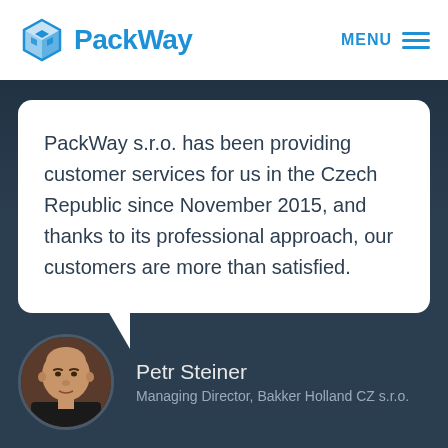[Figure (logo): PackWay logo with blue cube icon and blue bold text 'PackWay']
MENU
PackWay s.r.o. has been providing customer services for us in the Czech Republic since November 2015, and thanks to its professional approach, our customers are more than satisfied.
Petr Steiner
Managing Director, Bakker Holland CZ s.r.o.